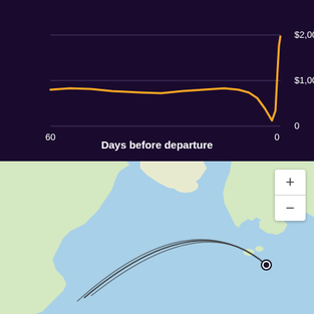[Figure (continuous-plot): Line chart showing flight price vs days before departure. X-axis goes from 60 days to 0, Y-axis from 0 to $2,000. Orange line starts around $800 at 60 days, stays relatively flat until about 14 days before departure, then rises sharply to ~$2,000 at 0 days.]
Days before departure
[Figure (map): World map showing flight routes as curved arcs from North America to Europe (appears to be transatlantic routes). A dot marks the destination in Western Europe. Map includes zoom controls (+/-) in top right corner.]